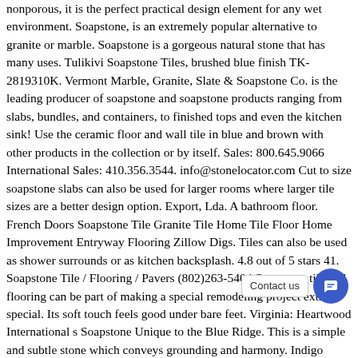nonporous, it is the perfect practical design element for any wet environment. Soapstone, is an extremely popular alternative to granite or marble. Soapstone is a gorgeous natural stone that has many uses. Tulikivi Soapstone Tiles, brushed blue finish TK-2819310K. Vermont Marble, Granite, Slate & Soapstone Co. is the leading producer of soapstone and soapstone products ranging from slabs, bundles, and containers, to finished tops and even the kitchen sink! Use the ceramic floor and wall tile in blue and brown with other products in the collection or by itself. Sales: 800.645.9066 International Sales: 410.356.3544. info@stonelocator.com Cut to size soapstone slabs can also be used for larger rooms where larger tile sizes are a better design option. Export, Lda. A bathroom floor. French Doors Soapstone Tile Granite Tile Home Tile Floor Home Improvement Entryway Flooring Zillow Digs. Tiles can also be used as shower surrounds or as kitchen backsplash. 4.8 out of 5 stars 41. Soapstone Tile / Flooring / Pavers (802)263-5404 Soapstone tile and flooring can be part of making a special remodeling project extra special. Its soft touch feels good under bare feet. Virginia: Heartwood International s Soapstone Unique to the Blue Ridge. This is a simple and subtle stone which conveys grounding and harmony. Indigo Soapstone Slabs, Brazil Blue S          Prices Soapstone Tiles & Slabs 379 Soapsto.          C        Soapstone Tiles & Slabs Clear Search. Soapstone naturally comes in very limited colors, mostly in the shades of gray. A kitchen floor. Soapstone tile It can be used both to create a unique appearance...